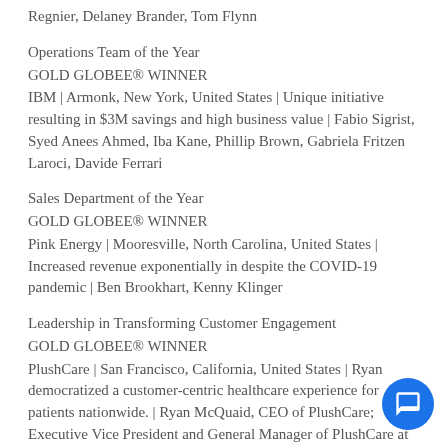Regnier, Delaney Brander, Tom Flynn
Operations Team of the Year
GOLD GLOBEE® WINNER
IBM | Armonk, New York, United States | Unique initiative resulting in $3M savings and high business value | Fabio Sigrist, Syed Anees Ahmed, Iba Kane, Phillip Brown, Gabriela Fritzen Laroci, Davide Ferrari
Sales Department of the Year
GOLD GLOBEE® WINNER
Pink Energy | Mooresville, North Carolina, United States | Increased revenue exponentially in despite the COVID-19 pandemic | Ben Brookhart, Kenny Klinger
Leadership in Transforming Customer Engagement
GOLD GLOBEE® WINNER
PlushCare | San Francisco, California, United States | Ryan democratized a customer-centric healthcare experience for patients nationwide. | Ryan McQuaid, CEO of PlushCare; Executive Vice President and General Manager of PlushCare at Accolade |